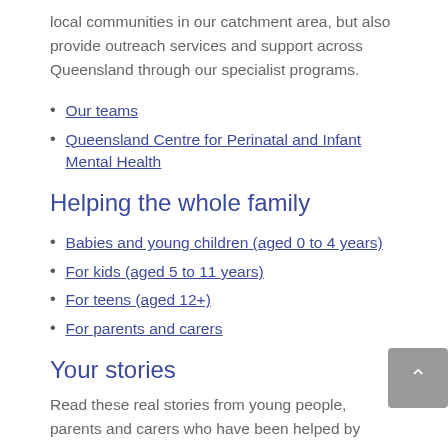local communities in our catchment area, but also provide outreach services and support across Queensland through our specialist programs.
Our teams
Queensland Centre for Perinatal and Infant Mental Health
Helping the whole family
Babies and young children (aged 0 to 4 years)
For kids (aged 5 to 11 years)
For teens (aged 12+)
For parents and carers
Your stories
Read these real stories from young people, parents and carers who have been helped by CYMHS.
My journey to mental health...